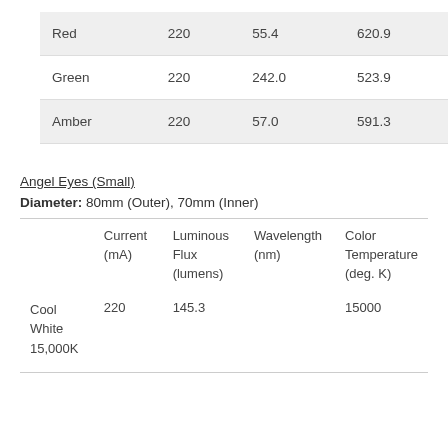| Red | 220 | 55.4 | 620.9 |
| Green | 220 | 242.0 | 523.9 |
| Amber | 220 | 57.0 | 591.3 |
Angel Eyes (Small)
Diameter: 80mm (Outer), 70mm (Inner)
|  | Current (mA) | Luminous Flux (lumens) | Wavelength (nm) | Color Temperature (deg. K) |
| --- | --- | --- | --- | --- |
| Cool White 15,000K | 220 | 145.3 |  | 15000 |